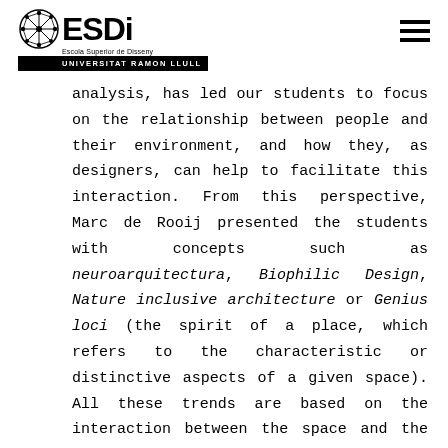ESDi Escola Superior de Disseny — UNIVERSITAT RAMON LLULL
analysis, has led our students to focus on the relationship between people and their environment, and how they, as designers, can help to facilitate this interaction. From this perspective, Marc de Rooij presented the students with concepts such as neuroarquitectura, Biophilic Design, Nature inclusive architecture or Genius loci (the spirit of a place, which refers to the characteristic or distinctive aspects of a given space). All these trends are based on the interaction between the space and the user as a key element in the design of buildings and places. Some of them also address the need to reconnect humans